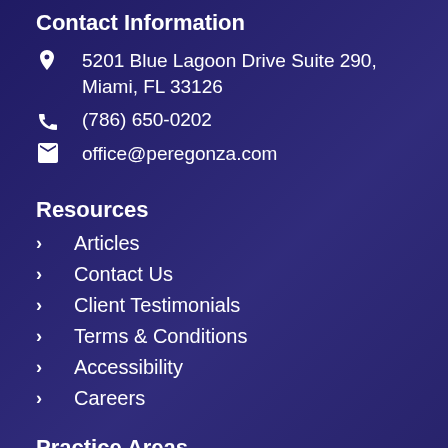Contact Information
5201 Blue Lagoon Drive Suite 290, Miami, FL 33126
(786) 650-0202
office@peregonza.com
Resources
Articles
Contact Us
Client Testimonials
Terms & Conditions
Accessibility
Careers
Practice Areas